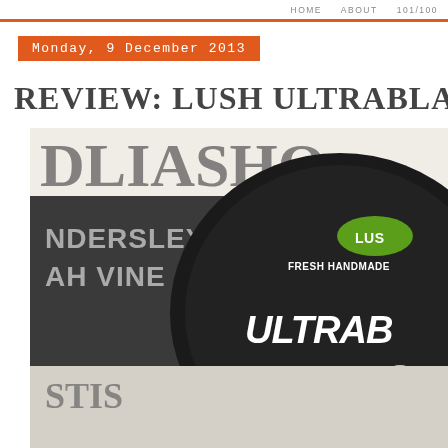HOME   ABOUT   101/100
Monday, 9 December 2013
REVIEW: LUSH ULTRABLAND CL
[Figure (photo): Photo of a Lush Ultrabland Facial Cleanser pot (black round container) with the Lush logo and text 'FRESH HANDMADE', 'ULTRAB', 'FACIAL CL' visible, placed on top of books/magazines including text 'NDERSLEY', 'AH VINE', 'STIS']